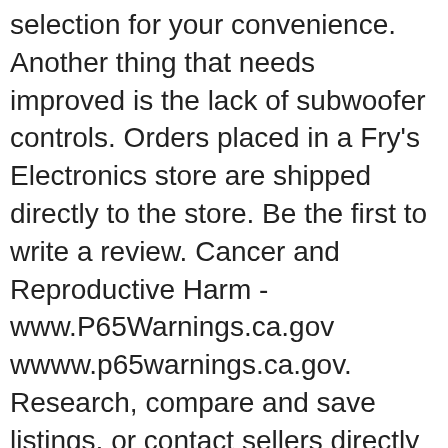selection for your convenience. Another thing that needs improved is the lack of subwoofer controls. Orders placed in a Fry's Electronics store are shipped directly to the store. Be the first to write a review. Cancer and Reproductive Harm - www.P65Warnings.ca.gov wwww.p65warnings.ca.gov. Research, compare and save listings, or contact sellers directly from 29 2006 GTO models in Atlanta. It is slightly larger. Please take a minute to review ourÂ Privacy Policy. BLAUPUNKT Irvine70 Multimedia Car Stereo - Single DIN LCD Display with Bluetooth Streaming, Hands-Free Calling, MP3/USB Front Aux, AM/FM Receiver - Detachable Faceplate 4.5 out of 5 stars 7 $23.99 $ 23 . Free shipping is only available to addresses in the contiguous United States. *Please enter your ZIP Code to view PSC availabilty. Price Match Request~Beta Version